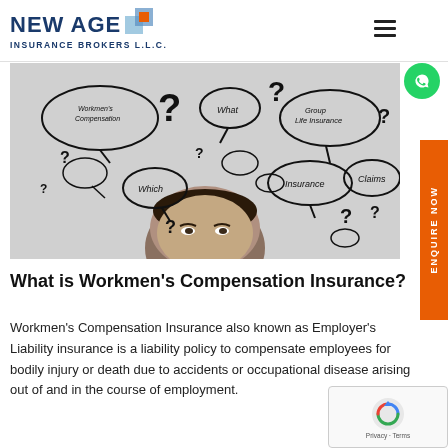[Figure (logo): New Age Insurance Brokers L.L.C. logo with blue text and colored square icon]
[Figure (photo): Man looking up at speech bubbles with questions about insurance: Workmen's Compensation, What, Group Life Insurance, Claims, Insurance, and question marks]
What is Workmen's Compensation Insurance?
Workmen's Compensation Insurance also known as Employer's Liability insurance is a liability policy to compensate employees for bodily injury or death due to accidents or occupational disease arising out of and in the course of employment.